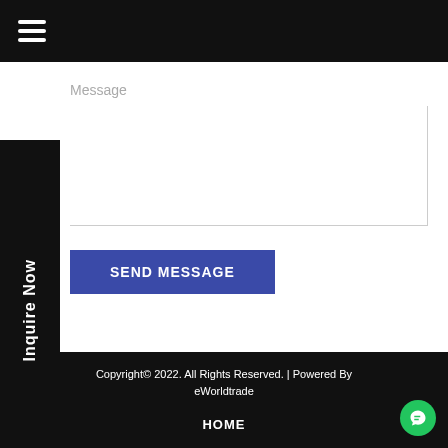Message
SEND MESSAGE
Inquire Now
Copyright© 2022. All Rights Reserved. | Powered By eWorldtrade
HOME
ABOUT US
PRODUCTS
CONTACT US